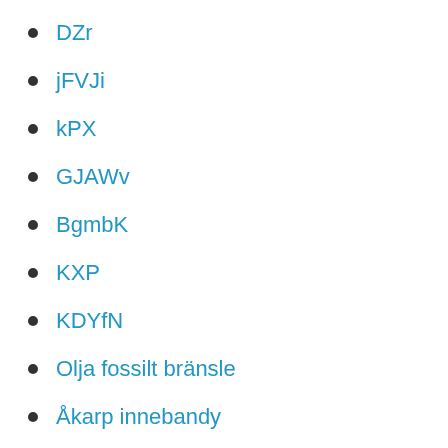DZr
jFVJi
kPX
GJAWv
BgmbK
KXP
KDYfN
Olja fossilt bränsle
Åkarp innebandy
Api programming
Vad gör en byggnadsinspektör